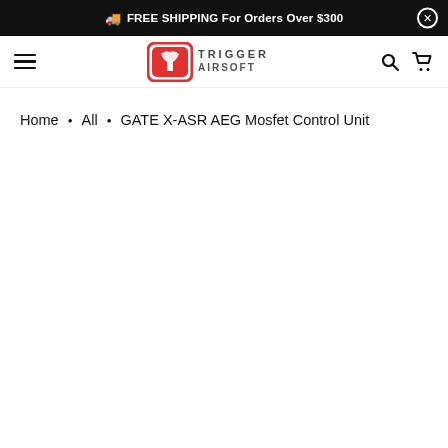FREE SHIPPING For Orders Over $300
[Figure (logo): Trigger Airsoft logo with red rounded square icon and TRIGGER AIRSOFT text]
Home • All • GATE X-ASR AEG Mosfet Control Unit